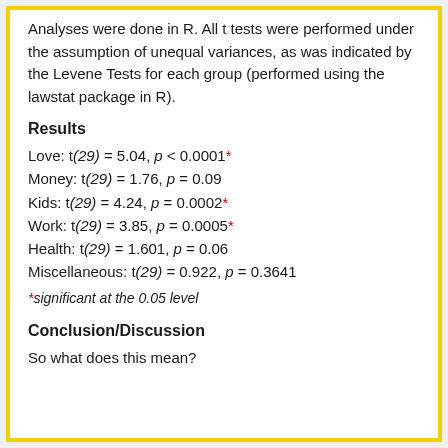Analyses were done in R. All t tests were performed under the assumption of unequal variances, as was indicated by the Levene Tests for each group (performed using the lawstat package in R).
Results
Love: t(29) = 5.04, p < 0.0001*
Money: t(29) = 1.76, p = 0.09
Kids: t(29) = 4.24, p = 0.0002*
Work: t(29) = 3.85, p = 0.0005*
Health: t(29) = 1.601, p = 0.06
Miscellaneous: t(29) = 0.922, p = 0.3641
*significant at the 0.05 level
Conclusion/Discussion
So what does this mean?